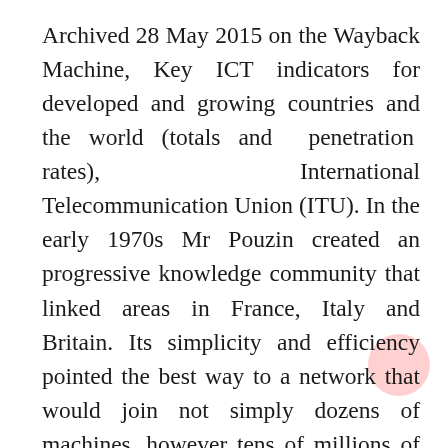Archived 28 May 2015 on the Wayback Machine, Key ICT indicators for developed and growing countries and the world (totals and penetration rates), International Telecommunication Union (ITU). In the early 1970s Mr Pouzin created an progressive knowledge community that linked areas in France, Italy and Britain. Its simplicity and efficiency pointed the best way to a network that would join not simply dozens of machines, however tens of millions of them. It captured the imagination of Dr Cerf and Dr Kahn, who included features of its design within the protocols that now energy the web.